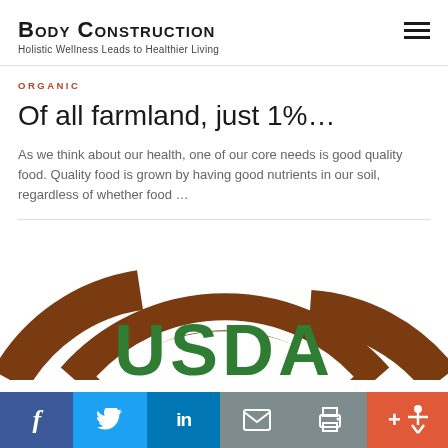Body Construction
Holistic Wellness Leads to Healthier Living
ORGANIC
Of all farmland, just 1%…
As we think about our health, one of our core needs is good quality food. Quality food is grown by having good nutrients in our soil, regardless of whether food …
[Figure (photo): Partial USDA organic seal showing brown circular border and green USDA text, cropped at bottom of page]
Social share bar: Facebook, Twitter, LinkedIn, Email, Print, Accessibility